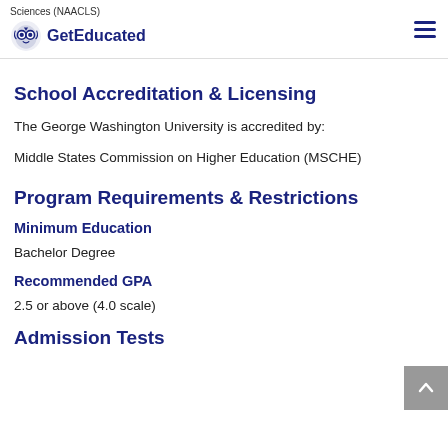Sciences (NAACLS) — GetEducated
School Accreditation & Licensing
The George Washington University is accredited by:
Middle States Commission on Higher Education (MSCHE)
Program Requirements & Restrictions
Minimum Education
Bachelor Degree
Recommended GPA
2.5 or above (4.0 scale)
Admission Tests